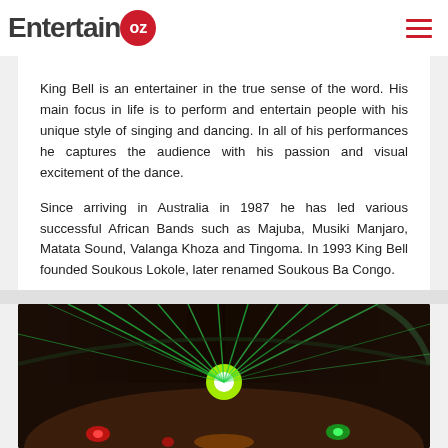EntertainOZ
Russia. In the middle of a successful career, political upheaval
King Bell is an entertainer in the true sense of the word. His main focus in life is to perform and entertain people with his unique style of singing and dancing. In all of his performances he captures the audience with his passion and visual excitement of the dance.

Since arriving in Australia in 1987 he has led various successful African Bands such as Majuba, Musiki Manjaro, Matata Sound, Valanga Khoza and Tingoma. In 1993 King Bell founded Soukous Lokole, later renamed Soukous Ba Congo.
[Figure (photo): Concert stage photo showing green laser/spotlight beams radiating outward against a dark sky, with colorful stage lights below including red and green lights, creating a dramatic performance atmosphere.]